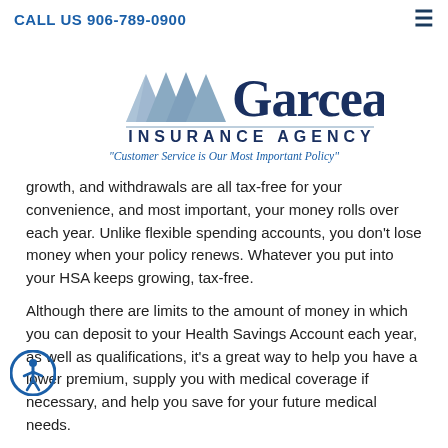CALL US 906-789-0900
[Figure (logo): Garceau Insurance Agency logo with mountain/shield icon in light blue, company name in dark navy blue, and tagline 'Customer Service is Our Most Important Policy' in italic blue text]
growth, and withdrawals are all tax-free for your convenience, and most important, your money rolls over each year. Unlike flexible spending accounts, you don't lose money when your policy renews. Whatever you put into your HSA keeps growing, tax-free.
Although there are limits to the amount of money in which you can deposit to your Health Savings Account each year, as well as qualifications, it's a great way to help you have a lower premium, supply you with medical coverage if necessary, and help you save for your future medical needs.